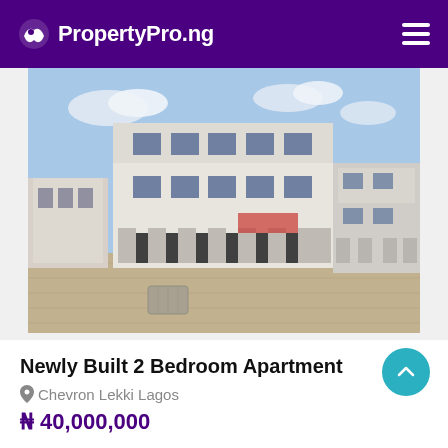PropertyPro.ng
[Figure (photo): Exterior photo of a newly built multi-storey white apartment complex with open ground floor parking area and paved courtyard, blue sky with light clouds in background.]
Newly Built 2 Bedroom Apartment
Chevron Lekki Lagos
₦ 40,000,000